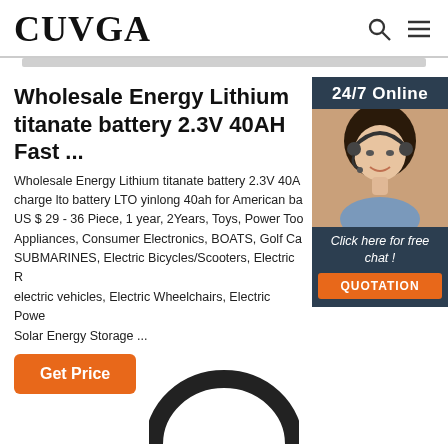CUVGA
Wholesale Energy Lithium titanate battery 2.3V 40AH Fast ...
Wholesale Energy Lithium titanate battery 2.3V 40AH Fast charge lto battery LTO yinlong 40ah for American ba US $ 29 - 36 Piece, 1 year, 2Years, Toys, Power Tools, Appliances, Consumer Electronics, BOATS, Golf Ca, SUBMARINES, Electric Bicycles/Scooters, Electric R electric vehicles, Electric Wheelchairs, Electric Powe Solar Energy Storage ...
[Figure (photo): Customer service representative woman with headset, smiling, with 24/7 Online label and chat widget]
24/7 Online
Click here for free chat !
QUOTATION
[Figure (photo): Partial circular product image visible at bottom of page]